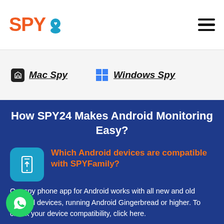SPY24
Mac Spy   Windows Spy
How SPY24 Makes Android Monitoring Easy?
Which Android devices are compatible with SPYFamily?
Our spy phone app for Android works with all new and old Android devices, running Android Gingerbread or higher. To check your device compatibility, click here.